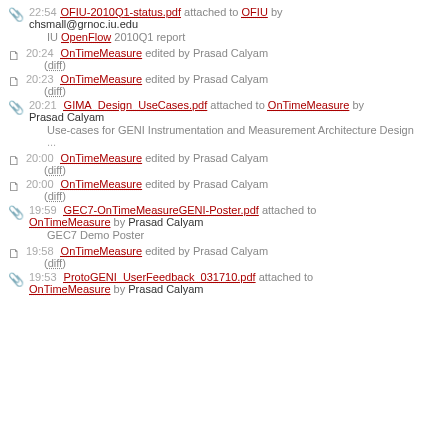22:54 OFIU-2010Q1-status.pdf attached to OFIU by chsmall@grnoc.iu.edu — IU OpenFlow 2010Q1 report
20:24 OnTimeMeasure edited by Prasad Calyam (diff)
20:23 OnTimeMeasure edited by Prasad Calyam (diff)
20:21 GIMA_Design_UseCases.pdf attached to OnTimeMeasure by Prasad Calyam — Use-cases for GENI Instrumentation and Measurement Architecture Design ...
20:00 OnTimeMeasure edited by Prasad Calyam (diff)
20:00 OnTimeMeasure edited by Prasad Calyam (diff)
19:59 GEC7-OnTimeMeasureGENI-Poster.pdf attached to OnTimeMeasure by Prasad Calyam — GEC7 Demo Poster
19:58 OnTimeMeasure edited by Prasad Calyam (diff)
19:53 ProtoGENI_UserFeedback_031710.pdf attached to OnTimeMeasure by Prasad Calyam